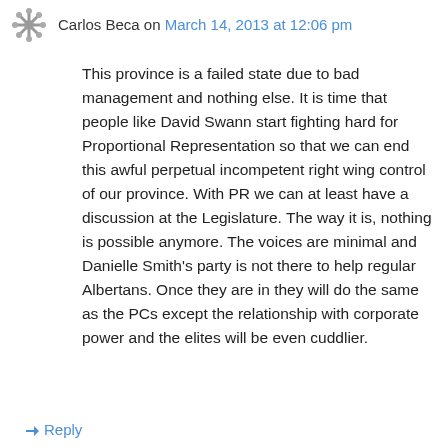Carlos Beca on March 14, 2013 at 12:06 pm
This province is a failed state due to bad management and nothing else. It is time that people like David Swann start fighting hard for Proportional Representation so that we can end this awful perpetual incompetent right wing control of our province. With PR we can at least have a discussion at the Legislature. The way it is, nothing is possible anymore. The voices are minimal and Danielle Smith's party is not there to help regular Albertans. Once they are in they will do the same as the PCs except the relationship with corporate power and the elites will be even cuddlier.
↳ Reply